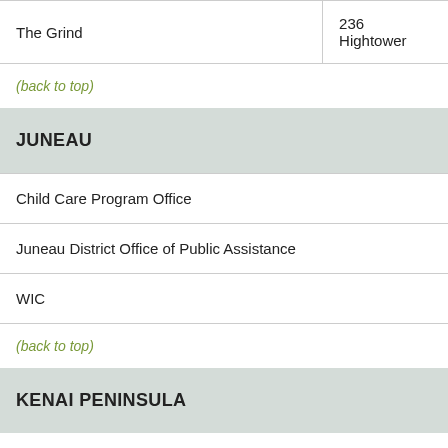|  |  |
| --- | --- |
| The Grind | 236 Hightower |
(back to top)
JUNEAU
| Child Care Program Office |
| Juneau District Office of Public Assistance |
| WIC |
(back to top)
KENAI PENINSULA